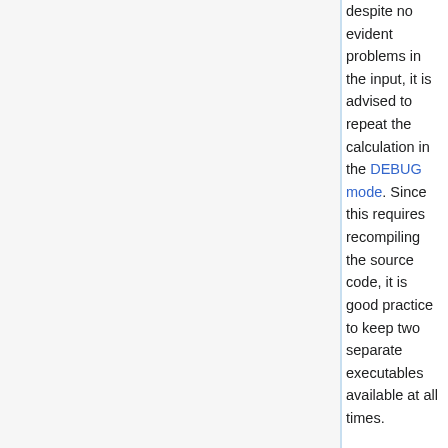despite no evident problems in the input, it is advised to repeat the calculation in the DEBUG mode. Since this requires recompiling the source code, it is good practice to keep two separate executables available at all times.
The DEBUG mode switches on several pointer and value checks, which are likely to catch the root cause of the error early on. Performing this check before reporting the error helps tracking down the problem. It should be noted, however, that the calculation runs significantly slower when compiled in the DEBUG mode (by a factor of two or more). When compiled in this mode the code prints text "DBG" in the run-time output log.
Performance